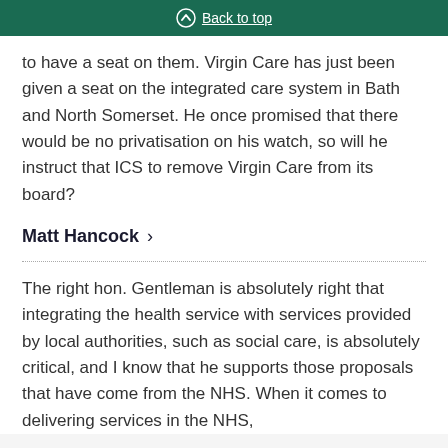Back to top
to have a seat on them. Virgin Care has just been given a seat on the integrated care system in Bath and North Somerset. He once promised that there would be no privatisation on his watch, so will he instruct that ICS to remove Virgin Care from its board?
Matt Hancock >
The right hon. Gentleman is absolutely right that integrating the health service with services provided by local authorities, such as social care, is absolutely critical, and I know that he supports those proposals that have come from the NHS. When it comes to delivering services in the NHS,